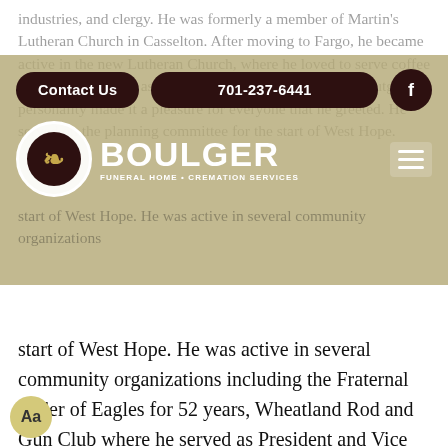[Figure (screenshot): Website navigation overlay for Boulger Funeral Home & Cremation Services, showing 'Contact Us' button, phone number '701-237-6441', Facebook icon button, Boulger logo with circular emblem, and hamburger menu icon, all on an olive/tan translucent background over faded body text]
start of West Hope. He was active in several community organizations including the Fraternal Order of Eagles for 52 years, Wheatland Rod and Gun Club where he served as President and Vice President, Wheatland Cemetery Board Member, Casselton Cenex Board Member, Cass County Farmers Union as a Director, and an Old Time Tractor Pulling Association Member. He enjoyed friendly competition by participating in many Old Time Tractor Pulls, and in the 1964 National Plowing Contest. He enjoyed restoring his antique tractors into excellent running condition. He also completely restored his 1960 Thunderbird, which was displayed at local car shows along with his 1966 Dodge Charger. He enjoyed watching NASCAR, playing Mexican train, cards, going on cruises with family and friends, traveling to Acapulco and Cancun.